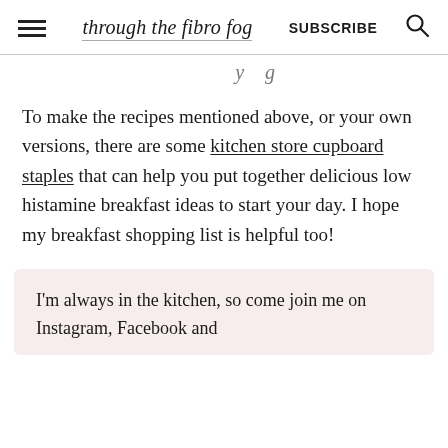through the fibro fog  SUBSCRIBE
To make the recipes mentioned above, or your own versions, there are some kitchen store cupboard staples that can help you put together delicious low histamine breakfast ideas to start your day. I hope my breakfast shopping list is helpful too!
I'm always in the kitchen, so come join me on Instagram, Facebook and